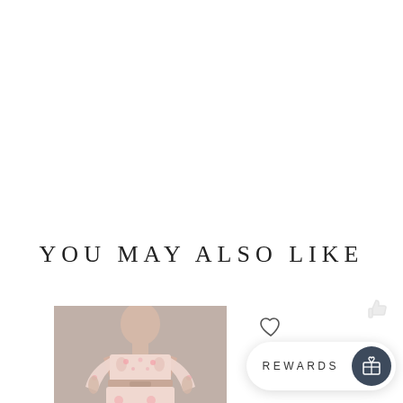YOU MAY ALSO LIKE
[Figure (photo): Fashion product photo showing a model wearing a pink floral off-shoulder cropped top with matching wide-leg pants, partially visible]
REWARDS